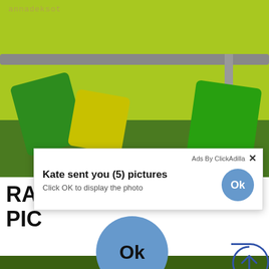[Figure (screenshot): Screenshot of a webpage showing a woman lying on a bed with green and yellow pillows, with the watermark 'annadeksot' in the upper left of the photo. A clickadilla ad overlay popup is visible over the page content. The popup reads 'Ads By ClickAdilla' with an X close button, 'Kate sent you (5) pictures' as the headline with a blue Ok button circle on the right, and 'Click OK to display the photo' as subtext. A large blue circle Ok button appears below. Partially visible behind the popup is large bold text reading 'RA' and 'PIC' (cut off). A partial circle with up arrow is visible on the right edge.]
Ads By ClickAdilla
Kate sent you (5) pictures
Click OK to display the photo